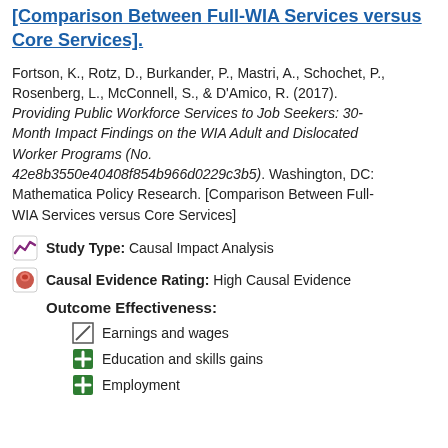[Comparison Between Full-WIA Services versus Core Services].
Fortson, K., Rotz, D., Burkander, P., Mastri, A., Schochet, P., Rosenberg, L., McConnell, S., & D'Amico, R. (2017). Providing Public Workforce Services to Job Seekers: 30-Month Impact Findings on the WIA Adult and Dislocated Worker Programs (No. 42e8b3550e40408f854b966d0229c3b5). Washington, DC: Mathematica Policy Research. [Comparison Between Full-WIA Services versus Core Services]
Study Type: Causal Impact Analysis
Causal Evidence Rating: High Causal Evidence
Outcome Effectiveness:
Earnings and wages
Education and skills gains
Employment